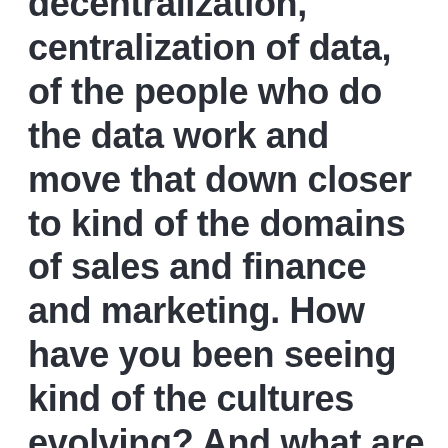decentralization, centralization of data, of the people who do the data work and move that down closer to kind of the domains of sales and finance and marketing. How have you been seeing kind of the cultures evolving? And what are best practices? What are dos and don'ts that you've seen over your career when it comes to